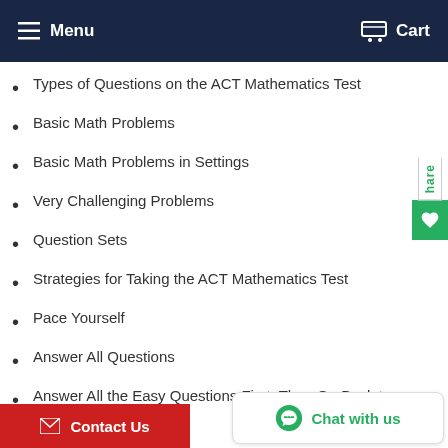Menu  Cart
Types of Questions on the ACT Mathematics Test
Basic Math Problems
Basic Math Problems in Settings
Very Challenging Problems
Question Sets
Strategies for Taking the ACT Mathematics Test
Pace Yourself
Answer All Questions
Answer All the Easy Questions First, Then Go Back to Answer the Hard Ones
Read Each Problem Carefully
Look for Information in the Answer Choices
Use Illustrations Wisely and Whenever You Can
Use Your Calculator Wisely